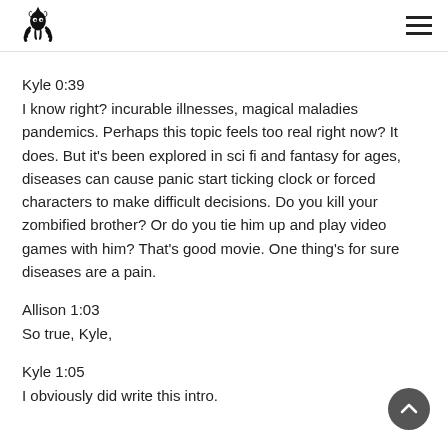Kyle 0:39
I know right? incurable illnesses, magical maladies pandemics. Perhaps this topic feels too real right now? It does. But it's been explored in sci fi and fantasy for ages, diseases can cause panic start ticking clock or forced characters to make difficult decisions. Do you kill your zombified brother? Or do you tie him up and play video games with him? That's good movie. One thing's for sure diseases are a pain.
Allison 1:03
So true, Kyle,
Kyle 1:05
I obviously did write this intro.